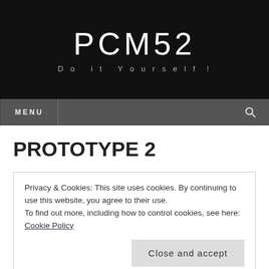PCM52
Do it Yourself !
MENU
PROTOTYPE 2
Privacy & Cookies: This site uses cookies. By continuing to use this website, you agree to their use.
To find out more, including how to control cookies, see here: Cookie Policy
Close and accept